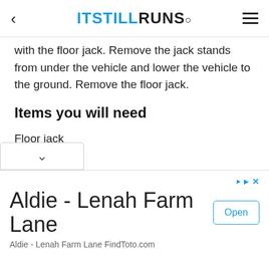ITSTILLRUNS.
with the floor jack. Remove the jack stands from under the vehicle and lower the vehicle to the ground. Remove the floor jack.
Items you will need
Floor jack
Jack stands
Oxygen sensor socket
Aldie - Lenah Farm Lane
Aldie - Lenah Farm Lane FindToto.com